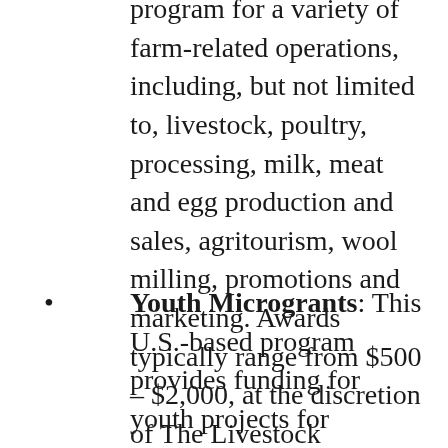program for a variety of farm-related operations, including, but not limited to, livestock, poultry, processing, milk, meat and egg production and sales, agritourism, wool milling, promotions and marketing. Awards typically range from $500 – $2,000, at the discretion of The Livestock Conservancy. New this year, is a rabbit-related Microgrant sponsored by KW Cages.
Youth Microgrants: This U.S.-based program provides funding for youth projects for individuals 8-18 years of age and are actively working with breeds listed on the Conservation Priority List. Support will be provided through this competitive program for a variety of farm-related operations, including, but not limited to